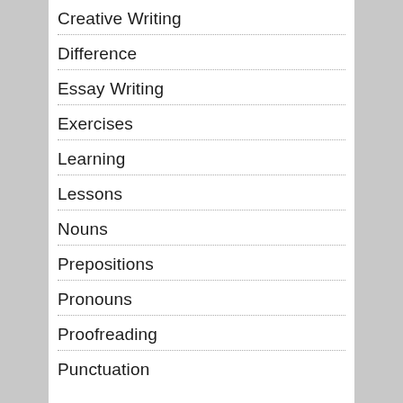Creative Writing
Difference
Essay Writing
Exercises
Learning
Lessons
Nouns
Prepositions
Pronouns
Proofreading
Punctuation